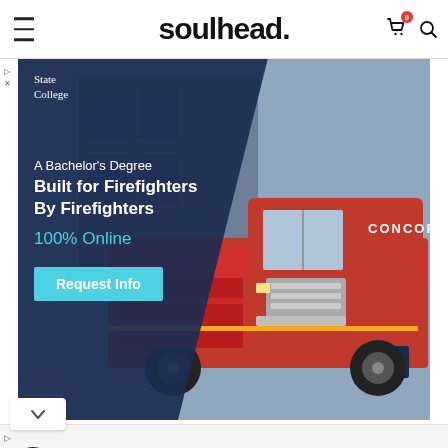soulhead.
[Figure (photo): Advertisement for State College: A Bachelor's Degree Built for Firefighters By Firefighters, 100% Online. Request Info button. Background shows a red Concord fire truck labeled E4.]
[Figure (infographic): Bottom advertisement: Back To School Shopping Deals – Leesburg Premium Outlets, with logo icon and navigation arrow icon.]